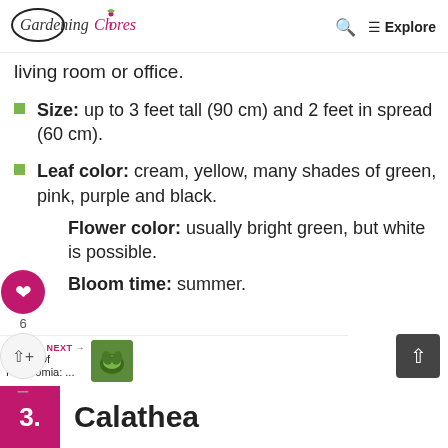Gardening Chores — Q Search ≡ Explore
living room or office.
Size: up to 3 feet tall (90 cm) and 2 feet in spread (60 cm).
Leaf color: cream, yellow, many shades of green, pink, purple and black.
Flower color: usually bright green, but white is possible.
Bloom time: summer.
3. Calathea
WHAT'S NEXT → Types Of Peperomia: ...